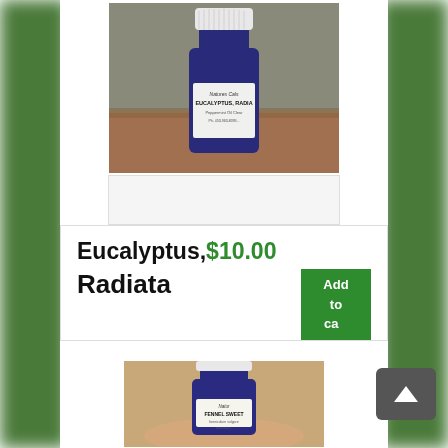[Figure (photo): Blue glass bottle of Eucalyptus Radiata essential oil with white cap and label reading 'Natures Cals EUCALYPTUS, RADIA...' on a wooden surface]
[Figure (photo): Second product image placeholder area (light colored rectangle)]
Eucalyptus, $10.00
Radiata
Add to cart
[Figure (photo): Blue glass bottle of Fennel Sweet essential oil with white cap and label reading 'Natures... FENNEL SWEET...' held in a hand]